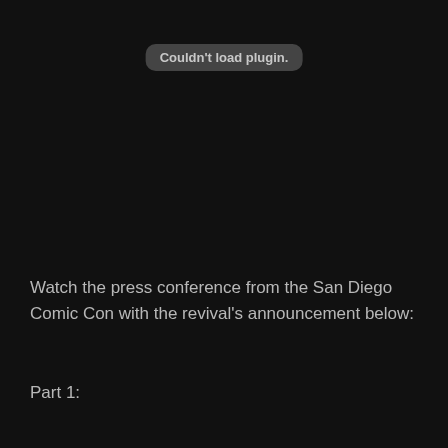[Figure (screenshot): Browser plugin error message displayed as a rounded rectangle button reading 'Couldn't load plugin.' on a dark background]
Watch the press conference from the San Diego Comic Con with the revival's announcement below:
Part 1: